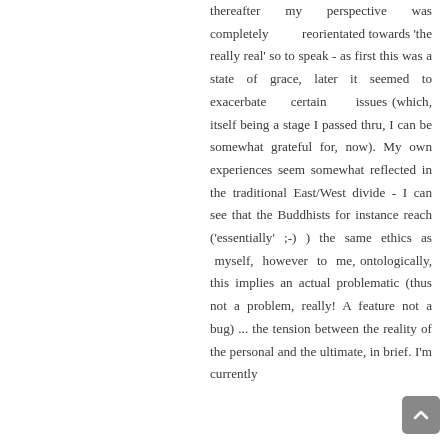thereafter my perspective was completely reorientated towards 'the really real' so to speak - as first this was a state of grace, later it seemed to exacerbate certain issues (which, itself being a stage I passed thru, I can be somewhat grateful for, now). My own experiences seem somewhat reflected in the traditional East/West divide - I can see that the Buddhists for instance reach ('essentially' ;-) ) the same ethics as myself, however to me, ontologically, this implies an actual problematic (thus not a problem, really! A feature not a bug) ... the tension between the reality of the personal and the ultimate, in brief. I'm currently